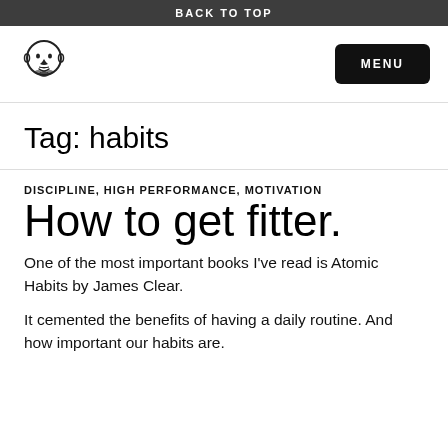BACK TO TOP
[Figure (logo): Illustrated male face logo with beard]
MENU
Tag: habits
DISCIPLINE, HIGH PERFORMANCE, MOTIVATION
How to get fitter.
One of the most important books I've read is Atomic Habits by James Clear.
It cemented the benefits of having a daily routine. And how important our habits are.